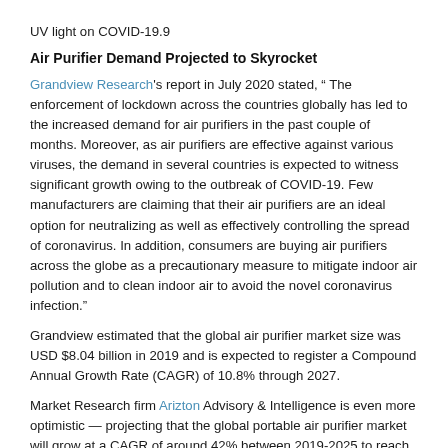UV light on COVID-19.9
Air Purifier Demand Projected to Skyrocket
Grandview Research's report in July 2020 stated, “ The enforcement of lockdown across the countries globally has led to the increased demand for air purifiers in the past couple of months. Moreover, as air purifiers are effective against various viruses, the demand in several countries is expected to witness significant growth owing to the outbreak of COVID-19. Few manufacturers are claiming that their air purifiers are an ideal option for neutralizing as well as effectively controlling the spread of coronavirus. In addition, consumers are buying air purifiers across the globe as a precautionary measure to mitigate indoor air pollution and to clean indoor air to avoid the novel coronavirus infection.”
Grandview estimated that the global air purifier market size was USD $8.04 billion in 2019 and is expected to register a Compound Annual Growth Rate (CAGR) of 10.8% through 2027.
Market Research firm Arizton Advisory & Intelligence is even more optimistic — projecting that the global portable air purifier market will grow at a CAGR of around 42% between 2019-2025 to reach $90 billion by 2025 due to “exponential rise in demand for clean air, owing to the rising population levels coupled with growing respiratory issue and ...